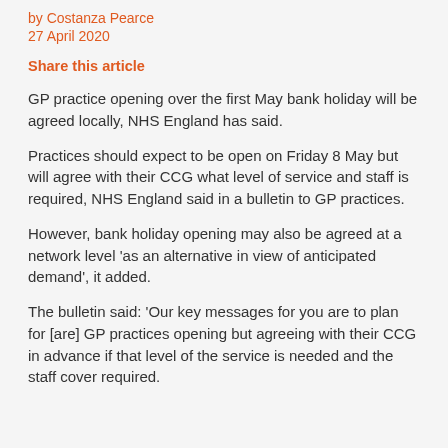by Costanza Pearce
27 April 2020
Share this article
GP practice opening over the first May bank holiday will be agreed locally, NHS England has said.
Practices should expect to be open on Friday 8 May but will agree with their CCG what level of service and staff is required, NHS England said in a bulletin to GP practices.
However, bank holiday opening may also be agreed at a network level ‘as an alternative in view of anticipated demand’, it added.
The bulletin said: ‘Our key messages for you are to plan for [are] GP practices opening but agreeing with their CCG in advance if that level of the service is needed and the staff cover required.